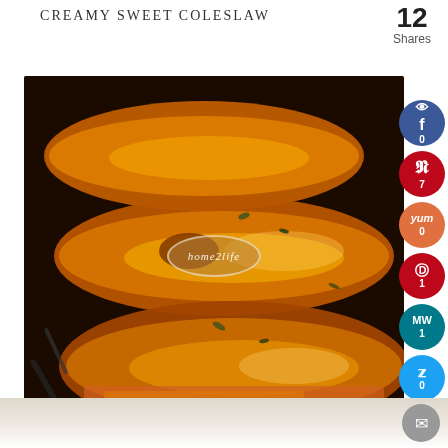CREAMY SWEET COLESLAW
12
Shares
[Figure (photo): Close-up photo of roasted butternut squash halves with herbs and pepper, with a watermark reading 'home2life', served with shredded filling and sage leaves.]
0
7
0
1
1
0
0
1